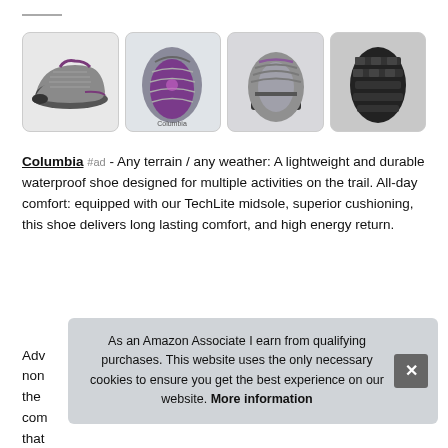[Figure (photo): Four product images of Columbia hiking shoes in gray/purple: side view, top view, front view, and sole view]
Columbia #ad - Any terrain / any weather: A lightweight and durable waterproof shoe designed for multiple activities on the trail. All-day comfort: equipped with our TechLite midsole, superior cushioning, this shoe delivers long lasting comfort, and high energy return.
Adv... non... the... com... that...
As an Amazon Associate I earn from qualifying purchases. This website uses the only necessary cookies to ensure you get the best experience on our website. More information